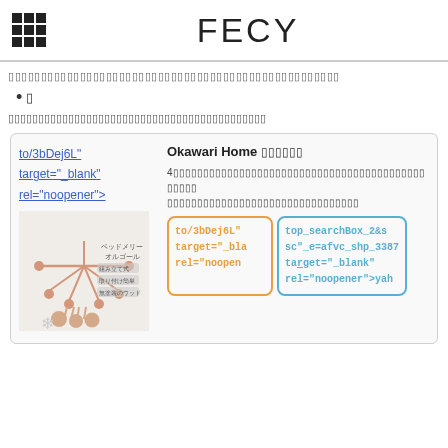FECY
▯▯▯▯▯▯▯▯▯▯▯▯▯▯▯▯▯▯▯▯▯▯▯▯▯▯▯▯▯▯▯▯▯▯▯▯▯▯▯▯▯▯▯▯▯▯▯▯▯▯▯
• ▯
▯▯▯▯▯▯▯▯▯▯▯▯▯▯▯▯▯▯▯▯▯▯▯▯▯▯▯▯▯▯▯▯▯▯▯▯▯▯▯▯▯▯▯
[Figure (screenshot): Product card showing Okawari Home product with image of wooden toy/mobile and links with orange and blue bordered code snippets showing href and target attributes]
to/3bDej6L" target="_blank" rel="noopener">
Okawari Home ▯▯▯▯▯▯
4▯▯▯▯▯▯▯▯▯▯▯▯▯▯▯▯▯▯▯▯▯▯▯▯▯▯▯▯▯▯▯▯▯▯▯▯▯▯▯▯▯▯▯▯▯▯▯▯▯▯▯▯▯▯▯▯▯▯▯▯▯▯▯▯▯▯▯▯▯▯▯▯▯